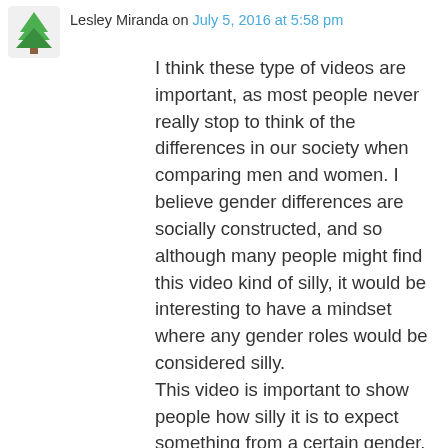Lesley Miranda on July 5, 2016 at 5:58 pm
I think these type of videos are important, as most people never really stop to think of the differences in our society when comparing men and women. I believe gender differences are socially constructed, and so although many people might find this video kind of silly, it would be interesting to have a mindset where any gender roles would be considered silly.
This video is important to show people how silly it is to expect something from a certain gender. The fact that girls must act a certain way when going out, or men have to order a manly drink or else they'll be teased about it, is something to really dwell on.
I mean seriously, a man can't order some